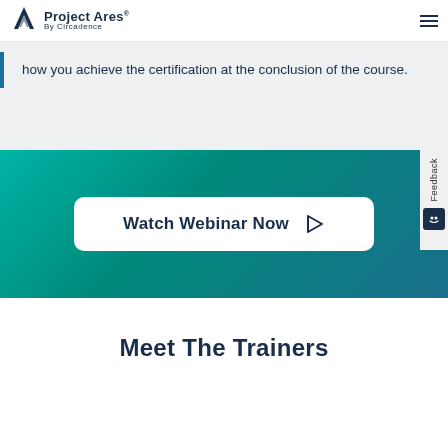Project Ares by Circadence
how you achieve the certification at the conclusion of the course.
[Figure (screenshot): Watch Webinar Now button with play icon on teal gradient background]
Meet The Trainers